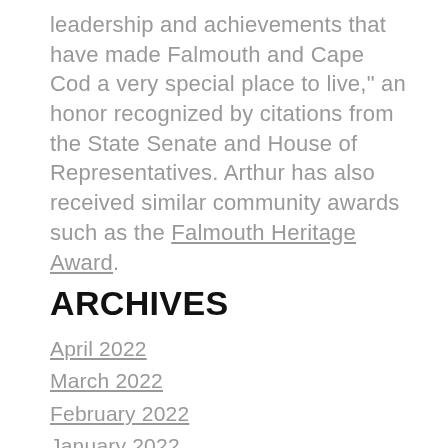leadership and achievements that have made Falmouth and Cape Cod a very special place to live," an honor recognized by citations from the State Senate and House of Representatives. Arthur has also received similar community awards such as the Falmouth Heritage Award.
ARCHIVES
April 2022
March 2022
February 2022
January 2022
December 2021